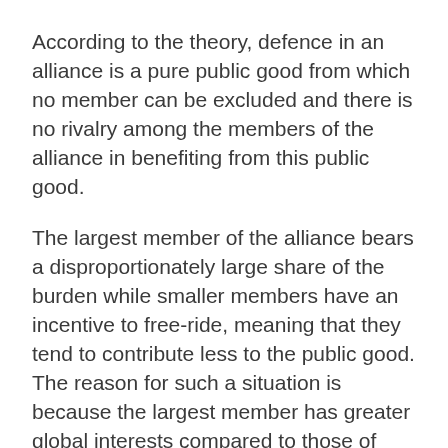According to the theory, defence in an alliance is a pure public good from which no member can be excluded and there is no rivalry among the members of the alliance in benefiting from this public good.
The largest member of the alliance bears a disproportionately large share of the burden while smaller members have an incentive to free-ride, meaning that they tend to contribute less to the public good. The reason for such a situation is because the largest member has greater global interests compared to those of smaller members. Yet, the largest member willingly covers the cost of free riding by smaller members. The equation boils down to basic mathematics. Even though the